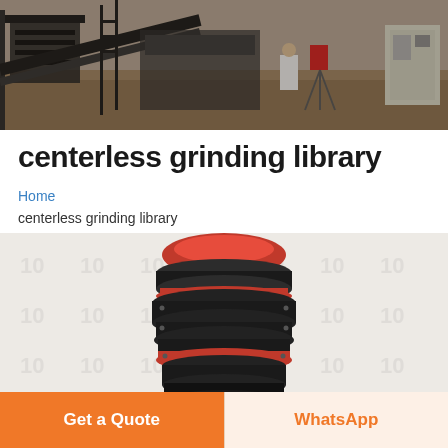[Figure (photo): Industrial site photograph showing heavy machinery, conveyor equipment, and a worker in white clothing on a dusty construction/mining site with steel structures and an electrical cabinet visible.]
centerless grinding library
Home
centerless grinding library
[Figure (photo): Product photo of a centerless grinding wheel/regulating wheel component — a stacked disc-shaped abrasive wheel in dark gray/black with red accent rings, shown against a light background with faint watermark logos.]
Get a Quote
WhatsApp